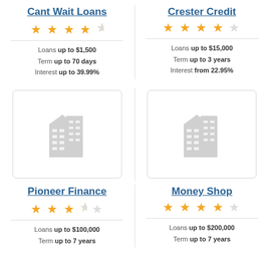Cant Wait Loans
★★★★½ (4.5 stars)
Loans up to $1,500
Term up to 70 days
Interest up to 39.99%
Crester Credit
★★★★☆ (4 stars)
Loans up to $15,000
Term up to 3 years
Interest from 22.95%
[Figure (illustration): Building/office icon placeholder for Pioneer Finance]
[Figure (illustration): Building/office icon placeholder for Money Shop]
Pioneer Finance
★★★½☆ (3.5 stars)
Loans up to $100,000
Term up to 7 years
Money Shop
★★★★☆ (4 stars)
Loans up to $200,000
Term up to 7 years